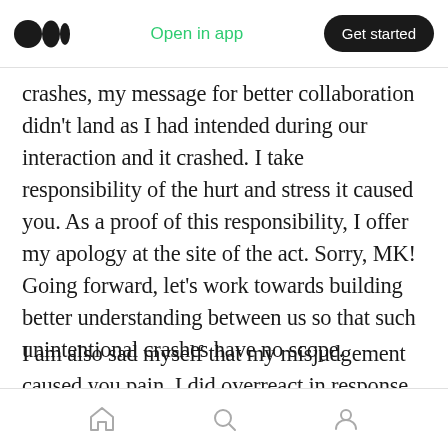Medium logo | Open in app | Get started
crashes, my message for better collaboration didn't land as I had intended during our interaction and it crashed. I take responsibility of the hurt and stress it caused you. As a proof of this responsibility, I offer my apology at the site of the act. Sorry, MK! Going forward, let's work towards building better understanding between us so that such unintentional crashes have no scope.
I am also sad myself that my misjudgement caused you pain. I did overreact in response to your statement, which further created an
Home | Search | Profile